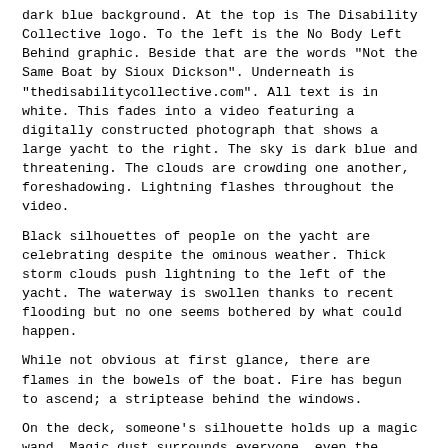dark blue background. At the top is The Disability Collective logo. To the left is the No Body Left Behind graphic. Beside that are the words "Not the Same Boat by Sioux Dickson". Underneath is "thedisabilitycollective.com". All text is in white. This fades into a video featuring a digitally constructed photograph that shows a large yacht to the right. The sky is dark blue and threatening. The clouds are crowding one another, foreshadowing. Lightning flashes throughout the video.
Black silhouettes of people on the yacht are celebrating despite the ominous weather. Thick storm clouds push lightning to the left of the yacht. The waterway is swollen thanks to recent flooding but no one seems bothered by what could happen.
While not obvious at first glance, there are flames in the bowels of the boat. Fire has begun to ascend; a striptease behind the windows.
On the deck, someone's silhouette holds up a magic wand. Magic dust surrounds everyone, even the children jumping into the water. Strings of white lights glow festively. Everyone is having a grand time and no one looks concerned about anything, despite the constant lightning.
Some of the yachters do acrobatics, some are engaged in conversation. On an upper deck, someone plays the saxophone. A woman holds up a wine bottle. A person toasts, their wine glass in silhouette.
A heavily pregnant man stares at his corpulent belly. He is looking for something. He is trying to find something that he never had or maybe he lost it long ago. He has no shame. At his feet - a bottle of beer that likely was more expensive than his